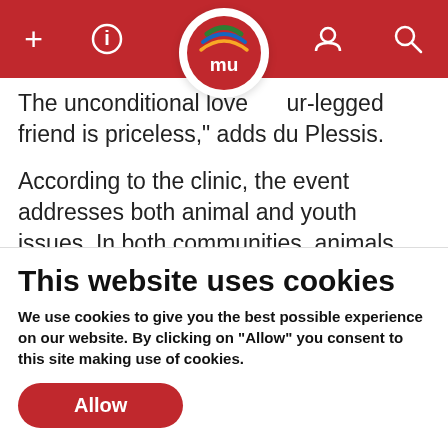+ i mu [logo] [user] [search]
The unconditional love [of a] four-legged friend is priceless," adds du Plessis.
According to the clinic, the event addresses both animal and youth issues. In both communities, animals are often bred for protection with children being taught to fear dogs. Here, children will experience the kind, compassionate qualities of dogs — something many community children never
This website uses cookies
We use cookies to give you the best possible experience on our website. By clicking on "Allow" you consent to this site making use of cookies.
Allow